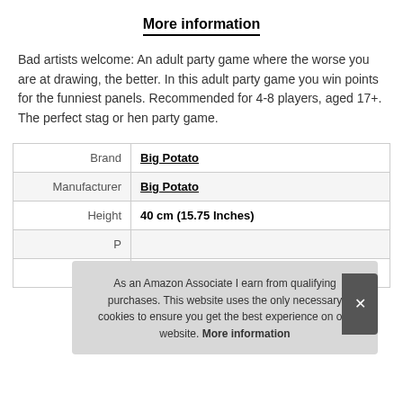More information
Bad artists welcome: An adult party game where the worse you are at drawing, the better. In this adult party game you win points for the funniest panels. Recommended for 4-8 players, aged 17+. The perfect stag or hen party game.
| Brand | Big Potato |
| Manufacturer | Big Potato |
| Height | 40 cm (15.75 Inches) |
| P… |  |
| Model | SC01 |
As an Amazon Associate I earn from qualifying purchases. This website uses the only necessary cookies to ensure you get the best experience on our website. More information